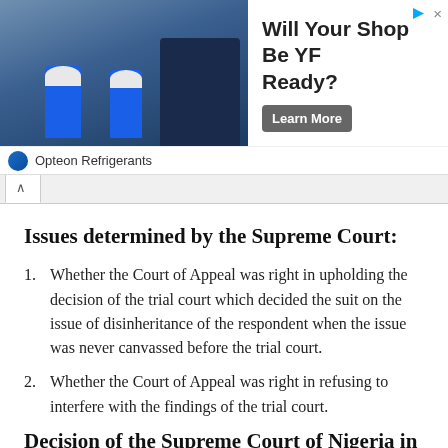[Figure (other): Advertisement banner: 'Will Your Shop Be YF Ready?' from Opteon Refrigerants with a Learn More button and image of workers in blue uniforms]
Issues determined by the Supreme Court:
Whether the Court of Appeal was right in upholding the decision of the trial court which decided the suit on the issue of disinheritance of the respondent when the issue was never canvassed before the trial court.
Whether the Court of Appeal was right in refusing to interfere with the findings of the trial court.
Decision of the Supreme Court of Nigeria in Anekwe v Nweke